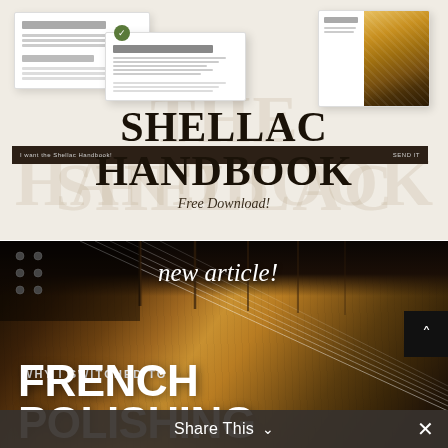[Figure (illustration): Shellac Handbook promotional image with document mockups on a cream background, showing 'SHELLAC HANDBOOK' in large serif text with 'Free Download!' in italics below]
[Figure (photo): Close-up photo of a classical guitar with golden-brown finish and strings visible, overlaid with text 'new article!' in script and 'WHY I SWITCHED TO FRENCH POLISHING' in bold white sans-serif]
Share This